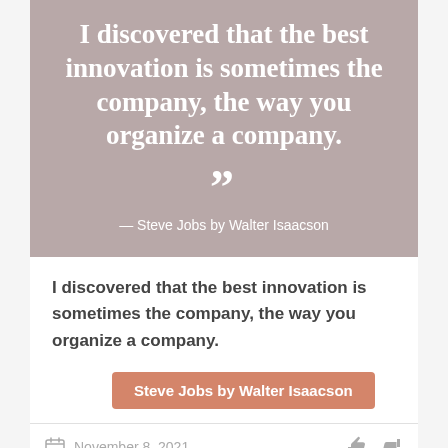[Figure (illustration): Quote card with mauve/rose-gray background showing large white serif text of a Steve Jobs quote, closing quotation marks, and attribution line]
I discovered that the best innovation is sometimes the company, the way you organize a company.
Steve Jobs by Walter Isaacson
November 8, 2021